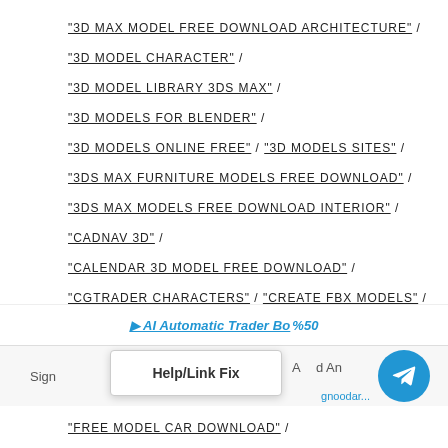"3D MAX MODEL FREE DOWNLOAD ARCHITECTURE" /
"3D MODEL CHARACTER" /
"3D MODEL LIBRARY 3DS MAX" /
"3D MODELS FOR BLENDER" /
"3D MODELS ONLINE FREE" / "3D MODELS SITES" /
"3DS MAX FURNITURE MODELS FREE DOWNLOAD" /
"3DS MAX MODELS FREE DOWNLOAD INTERIOR" /
"CADNAV 3D" /
"CALENDAR 3D MODEL FREE DOWNLOAD" /
"CGTRADER CHARACTERS" / "CREATE FBX MODELS" /
"DEEP FRYER 3D MODEL FREE DOWNLOAD" /
"FREE 3D CHARACTER MODELS" /
"FREE 3D MODELS FOR BLENDER" /
[Figure (screenshot): Popup overlay showing AI Automatic Trader Bot advertisement with Telegram icon and Help/Link Fix dialog]
"FREE MODEL CAR DOWNLOAD" /